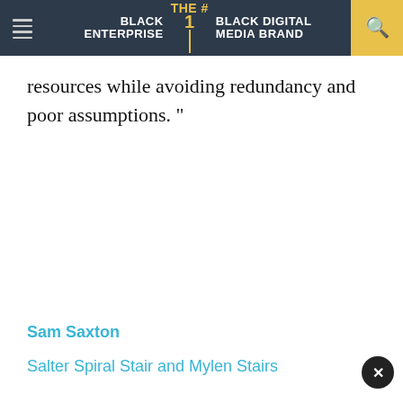BLACK ENTERPRISE THE #1 BLACK DIGITAL MEDIA BRAND
resources while avoiding redundancy and poor assumptions. ”
Sam Saxton
Salter Spiral Stair and Mylen Stairs